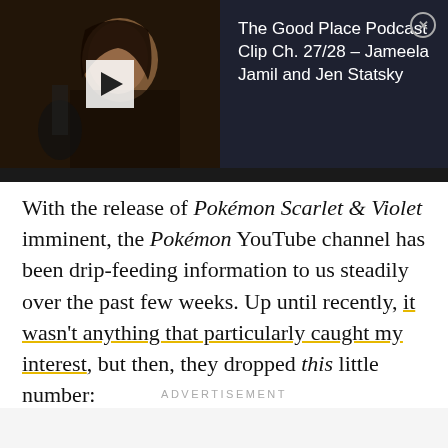[Figure (screenshot): Video thumbnail showing a woman speaking into a microphone, with a dark overlay on the left side showing a play button. The right side shows a dark navy panel with white text reading 'The Good Place Podcast Clip Ch. 27/28 – Jameela Jamil and Jen Statsky' and a close/X button in the top right corner.]
With the release of Pokémon Scarlet & Violet imminent, the Pokémon YouTube channel has been drip-feeding information to us steadily over the past few weeks. Up until recently, it wasn't anything that particularly caught my interest, but then, they dropped this little number:
ADVERTISEMENT